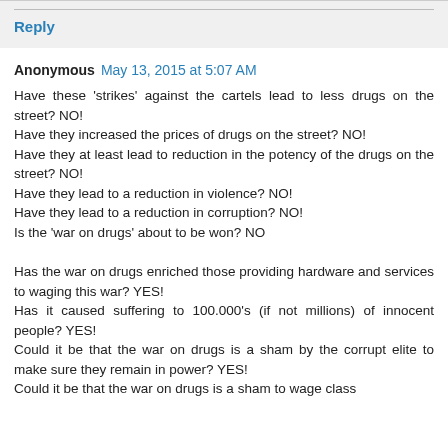Reply
Anonymous  May 13, 2015 at 5:07 AM
Have these 'strikes' against the cartels lead to less drugs on the street? NO!
Have they increased the prices of drugs on the street? NO!
Have they at least lead to reduction in the potency of the drugs on the street? NO!
Have they lead to a reduction in violence? NO!
Have they lead to a reduction in corruption? NO!
Is the 'war on drugs' about to be won? NO

Has the war on drugs enriched those providing hardware and services to waging this war? YES!
Has it caused suffering to 100.000's (if not millions) of innocent people? YES!
Could it be that the war on drugs is a sham by the corrupt elite to make sure they remain in power? YES!
Could it be that the war on drugs is a sham to wage class